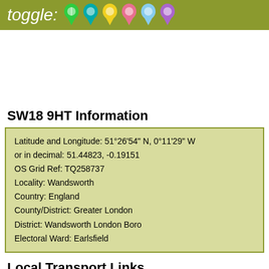[Figure (illustration): Olive/green bar at top with italic text 'toggle:' followed by six colorful map pin/marker icons in green, teal, yellow, pink, light blue, and purple]
SW18 9HT Information
Latitude and Longitude: 51°26'54" N, 0°11'29" W
or in decimal: 51.44823, -0.19151
OS Grid Ref: TQ258737
Locality: Wandsworth
Country: England
County/District: Greater London
District: Wandsworth London Boro
Electoral Ward: Earlsfield
Local Transport Links
Earlsfield Railway Station - within a mile
Southfields Tube Station (Underground Station) - within a mile
Wandsworth Town Railway Station - within a mile